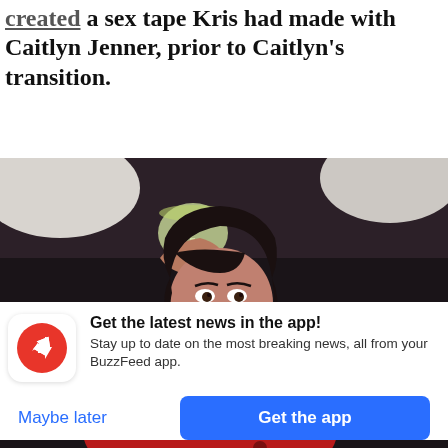created a sex tape Kris had made with Caitlyn Jenner, prior to Caitlyn's transition.
[Figure (photo): A woman with short dark hair wearing a red patterned top, holding up a glass of white wine, seated against a dark couch with white pillows. She has red lipstick and appears to be on a TV show set.]
Get the latest news in the app! Stay up to date on the most breaking news, all from your BuzzFeed app.
Maybe later
Get the app